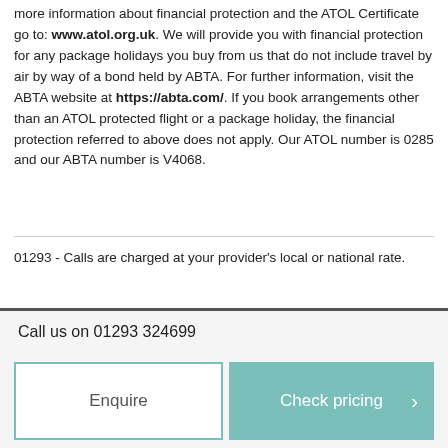more information about financial protection and the ATOL Certificate go to: www.atol.org.uk. We will provide you with financial protection for any package holidays you buy from us that do not include travel by air by way of a bond held by ABTA. For further information, visit the ABTA website at https://abta.com/. If you book arrangements other than an ATOL protected flight or a package holiday, the financial protection referred to above does not apply. Our ATOL number is 0285 and our ABTA number is V4068.
01293 - Calls are charged at your provider's local or national rate.
Call us on 01293 324699